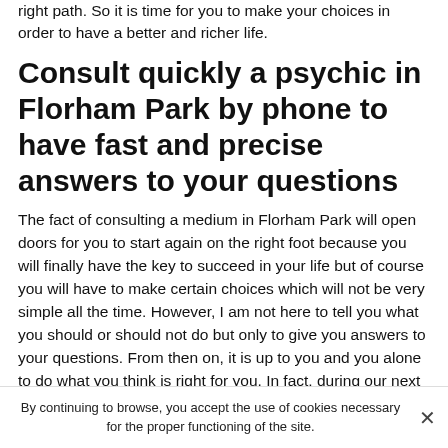right path. So it is time for you to make your choices in order to have a better and richer life.
Consult quickly a psychic in Florham Park by phone to have fast and precise answers to your questions
The fact of consulting a medium in Florham Park will open doors for you to start again on the right foot because you will finally have the key to succeed in your life but of course you will have to make certain choices which will not be very simple all the time. However, I am not here to tell you what you should or should not do but only to give you answers to your questions. From then on, it is up to you and you alone to do what you think is right for you. In fact, during our next phone consultation, I will give you some solutions to get a new life but if you think they are not good ideas then I leave you free to do as you wish. That being
By continuing to browse, you accept the use of cookies necessary for the proper functioning of the site.